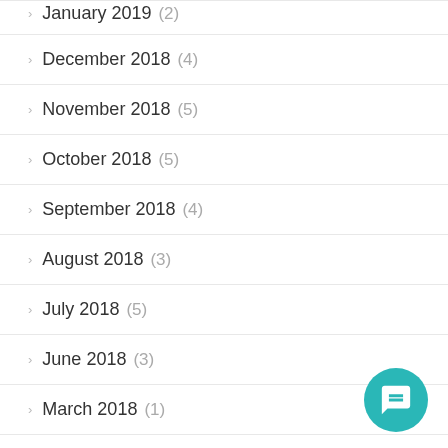January 2019 (2)
December 2018 (4)
November 2018 (5)
October 2018 (5)
September 2018 (4)
August 2018 (3)
July 2018 (5)
June 2018 (3)
March 2018 (1)
January 2017 (1)